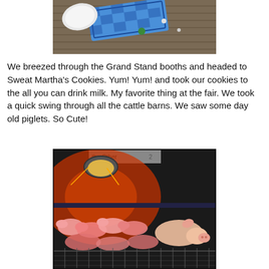[Figure (photo): Top portion of an image showing items on a wooden deck including a blue checkered cloth/shirt and some small objects]
We breezed through the Grand Stand booths and headed to Sweat Martha's Cookies. Yum! Yum! and took our cookies to the all you can drink milk. My favorite thing at the fair. We took a quick swing through all the cattle barns. We saw some day old piglets. So Cute!
[Figure (photo): Photo of day-old newborn piglets huddled together under a red heat lamp in a pen at a fair]